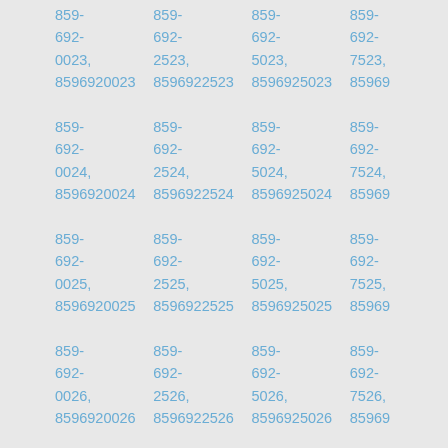859-692-0023, 8596920023  859-692-2523, 8596922523  859-692-5023, 8596925023  859-692-7523, 8596927523
859-692-0024, 8596920024  859-692-2524, 8596922524  859-692-5024, 8596925024  859-692-7524, 8596927524
859-692-0025, 8596920025  859-692-2525, 8596922525  859-692-5025, 8596925025  859-692-7525, 8596927525
859-692-0026, 8596920026  859-692-2526, 8596922526  859-692-5026, 8596925026  859-692-7526, 8596927526